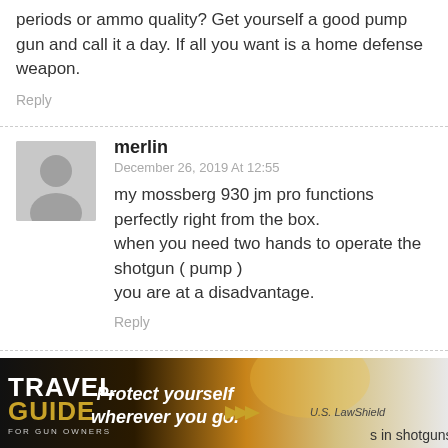periods or ammo quality? Get yourself a good pump gun and call it a day. If all you want is a home defense weapon.
Reply
merlin
December 26, 2019 At 12:55
my mossberg 930 jm pro functions perfectly right from the box.
when you need two hands to operate the shotgun ( pump )
you are at a disadvantage.
Reply
jwtaylor
[Figure (infographic): Travel Guide for Gun Owners advertisement banner with text 'Protect yourself wherever you go.' and US LawShield branding]
s in shotguns